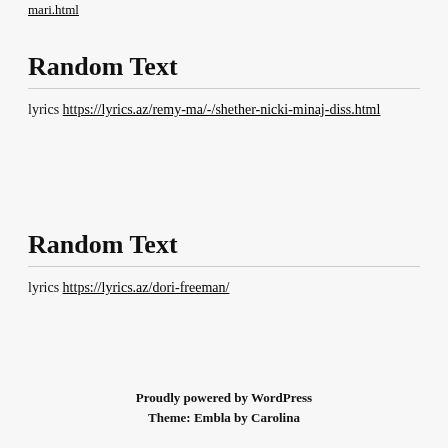mari.html
Random Text
lyrics https://lyrics.az/remy-ma/-/shether-nicki-minaj-diss.html
Random Text
lyrics https://lyrics.az/dori-freeman/
Proudly powered by WordPress
Theme: Embla by Carolina